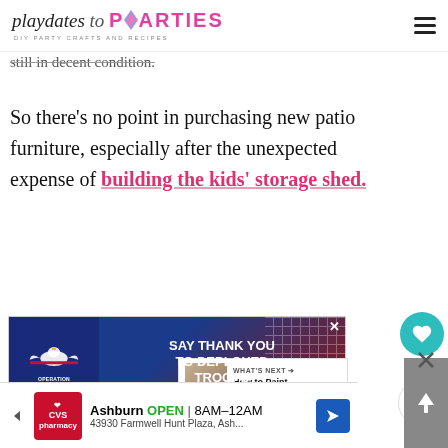playdates to PARTIES – DIY PARTY CRAFTS AND RECIPES
still in decent condition.
So there's no point in purchasing new patio furniture, especially after the unexpected expense of building the kids' storage shed.
[Figure (photo): Operation Gratitude advertisement banner: 'SAY THANK YOU TO DEPLOYED TROOPS' with eagle logo on blue and red background]
[Figure (photo): What's Next panel showing thumbnail and title 'How to Paint Rusted Pati...']
[Figure (photo): Bottom advertisement bar: CVS Pharmacy, Ashburn OPEN 8AM–12AM, 43930 Farmwell Hunt Plaza, Ash...]